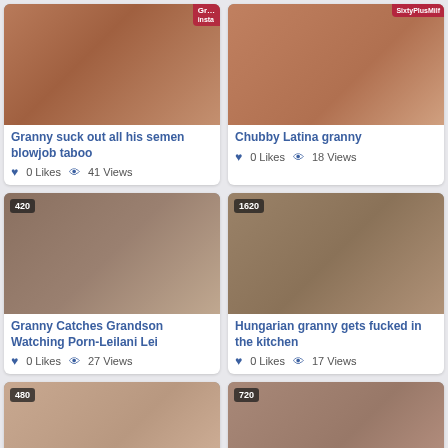[Figure (screenshot): Video thumbnail for 'Granny suck out all his semen blowjob taboo' with watermark top-right]
Granny suck out all his semen blowjob taboo
0 Likes  41 Views
[Figure (screenshot): Video thumbnail for 'Chubby Latina granny' with SixtyPlusMilf watermark]
Chubby Latina granny
0 Likes  18 Views
[Figure (screenshot): Video thumbnail 420p for 'Granny Catches Grandson Watching Porn-Leilani Lei']
Granny Catches Grandson Watching Porn-Leilani Lei
0 Likes  27 Views
[Figure (screenshot): Video thumbnail 1620p for 'Hungarian granny gets fucked in the kitchen']
Hungarian granny gets fucked in the kitchen
0 Likes  17 Views
[Figure (screenshot): Video thumbnail 480p partial]
[Figure (screenshot): Video thumbnail 720p partial with English language selector bar]